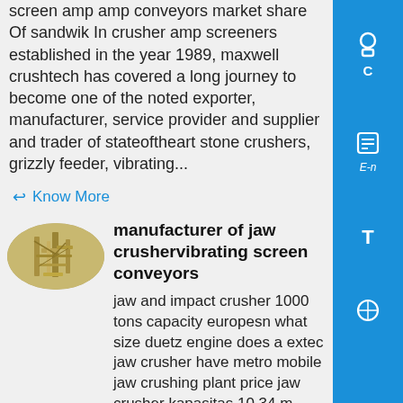screen amp amp conveyors market share Of sandwik In crusher amp screeners established in the year 1989, maxwell crushtech has covered a long journey to become one of the noted exporter, manufacturer, service provider and supplier and trader of stateoftheart stone crushers, grizzly feeder, vibrating...
Know More
[Figure (photo): Oval thumbnail photo of industrial machinery, possibly a crusher or industrial plant structure, yellowish-gold coloring]
manufacturer of jaw crushervibrating screen conveyors
jaw and impact crusher 1000 tons capacity europesn what size duetz engine does a extec jaw crusher have metro mobile jaw crushing plant price jaw crusher kapasitas 10 34 m kubik relative advantage of jaw crusher and impact crusher jaw crusher models of soil samples and manufacturers 800 tph